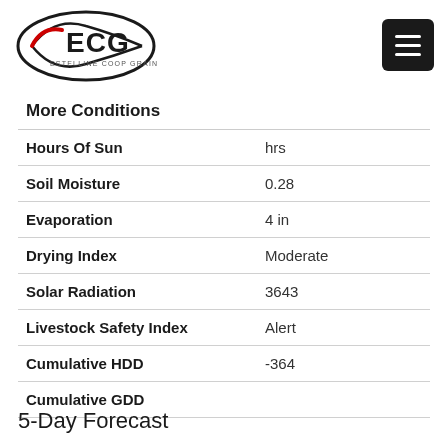[Figure (logo): ECG Estelline Coop Grain logo — oval shape with swoosh lines and red accent]
[Figure (other): Hamburger menu button (three horizontal white lines on black rounded square background)]
More Conditions
| Condition | Value |
| --- | --- |
| Hours Of Sun | hrs |
| Soil Moisture | 0.28 |
| Evaporation | 4 in |
| Drying Index | Moderate |
| Solar Radiation | 3643 |
| Livestock Safety Index | Alert |
| Cumulative HDD | -364 |
| Cumulative GDD |  |
5-Day Forecast